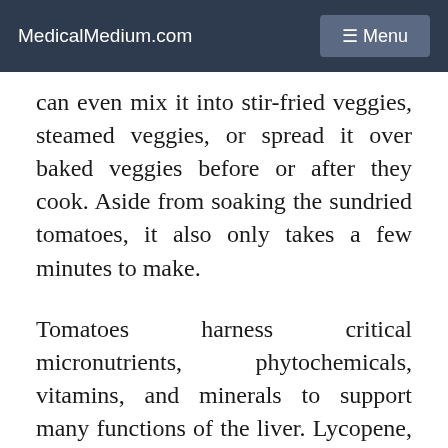MedicalMedium.com  ☰ Menu
can even mix it into stir-fried veggies, steamed veggies, or spread it over baked veggies before or after they cook. Aside from soaking the sundried tomatoes, it also only takes a few minutes to make.
Tomatoes harness critical micronutrients, phytochemicals, vitamins, and minerals to support many functions of the liver. Lycopene, which is found in tomatoes, is a beloved nutrient that the liver admires: the liver uses it to shield itself from cell damage, plus